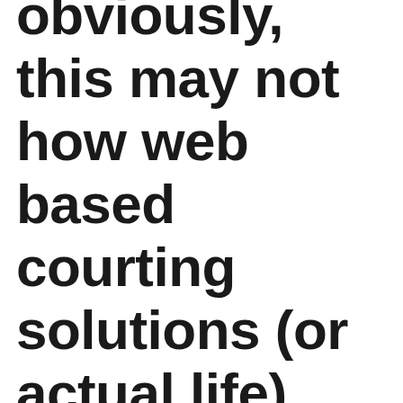obviously, this may not how web based courting solutions (or actual life) functions. We all constantly advise assembly a variety of Latina Girls, when you occur to